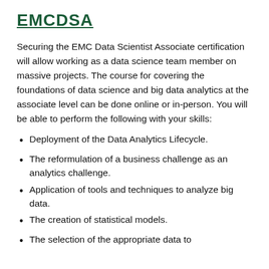EMCDSA
Securing the EMC Data Scientist Associate certification will allow working as a data science team member on massive projects. The course for covering the foundations of data science and big data analytics at the associate level can be done online or in-person. You will be able to perform the following with your skills:
Deployment of the Data Analytics Lifecycle.
The reformulation of a business challenge as an analytics challenge.
Application of tools and techniques to analyze big data.
The creation of statistical models.
The selection of the appropriate data to